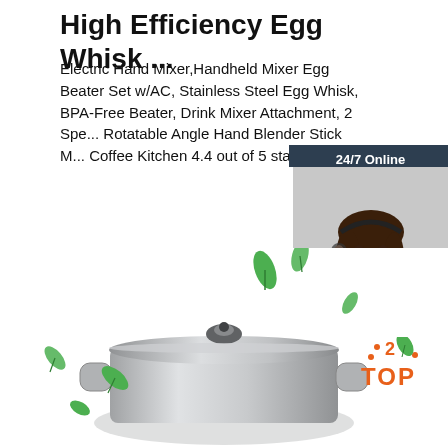High Efficiency Egg Whisk ...
Electric Hand Mixer,Handheld Mixer Egg Beater Set w/AC, Stainless Steel Egg Whisk, BPA-Free Beater, Drink Mixer Attachment, 2 Spe... Rotatable Angle Hand Blender Stick M... Coffee Kitchen 4.4 out of 5 stars 713
[Figure (illustration): Orange 'Get Price' button]
[Figure (photo): 24/7 Online chat widget with woman wearing headset, dark navy background, orange QUOTATION button, italic 'Click here for free chat!' text]
[Figure (photo): Stainless steel pot/kettle product image with green leaves floating around it, white background]
[Figure (logo): Orange TOP logo with decorative dots in top right corner]